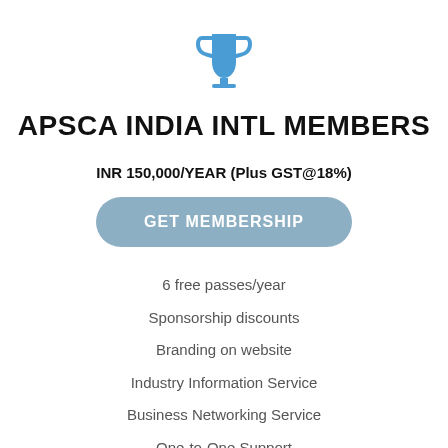[Figure (illustration): Blue trophy cup icon]
APSCA INDIA INTL MEMBERS
INR 150,000/YEAR (Plus GST@18%)
GET MEMBERSHIP
6 free passes/year
Sponsorship discounts
Branding on website
Industry Information Service
Business Networking Service
One-to-One Support